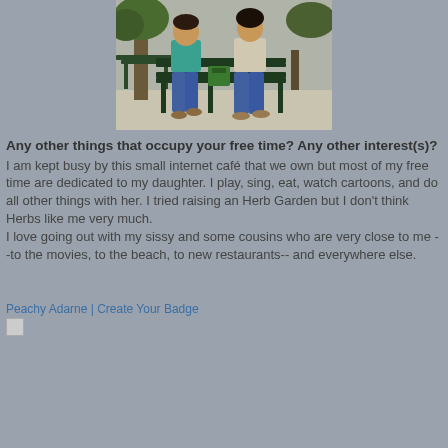[Figure (photo): Two people sitting on a park bench outdoors, both wearing blue jeans. One person wears a teal/green top. A tree is visible behind them. The setting appears to be a paved outdoor area.]
Any other things that occupy your free time? Any other interest(s)?
I am kept busy by this small internet café that we own but most of my free time are dedicated to my daughter. I play, sing, eat, watch cartoons, and do all other things with her. I tried raising an Herb Garden but I don't think Herbs like me very much.
I love going out with my sissy and some cousins who are very close to me --to the movies, to the beach, to new restaurants-- and everywhere else.
Peachy Adarne | Create Your Badge